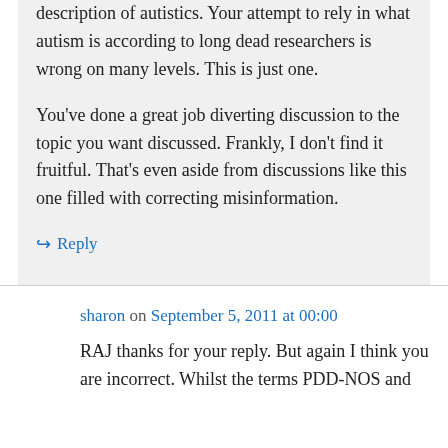description of autistics. Your attempt to rely in what autism is according to long dead researchers is wrong on many levels. This is just one.

You've done a great job diverting discussion to the topic you want discussed. Frankly, I don't find it fruitful. That's even aside from discussions like this one filled with correcting misinformation.
Reply
sharon on September 5, 2011 at 00:00
RAJ thanks for your reply. But again I think you are incorrect. Whilst the terms PDD-NOS and